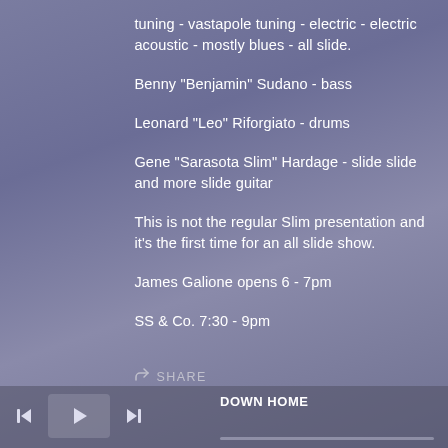tuning - vastapole tuning - electric - electric acoustic - mostly blues - all slide.
Benny "Benjamin" Sudano - bass
Leonard "Leo" Riforgiato - drums
Gene "Sarasota Slim" Hardage - slide slide and more slide guitar
This is not the regular Slim presentation and it's the first time for an all slide show.
James Galione opens 6 - 7pm
SS & Co. 7:30 - 9pm
SHARE
DOWN HOME